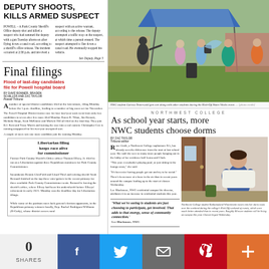DEPUTY SHOOTS, KILLS ARMED SUSPECT
POWELL – A Park County Sheriff's Office deputy shot and killed a suspect who had rammed the deputy with a gun Tuesday afternoon after flying down a canal road, according to a sheriff's office release. The incident occurred at 2:58 p.m. and involved a suspect with an active warrant, according to the release. The deputy attempted a traffic stop on the suspect, at which time a pursuit ensued. The suspect attempted to flee down a canal road. He eventually stopped his vehicle.
See Deputy, Page 5
Final filings
Flood of last-day candidates file for Powell hospital board
BY DAVE BONNER, BRADEN SCHILLER AND ZAC TAYLOR
Powell Tribune
A number of special district candidates filed at the last minute, filing Monday before the 5 p.m. deadline, leading to a number of big races set for November.
Libertarian filing keeps race alive for commissioner
Former Park County Sheriff's Office officer Thomas Ellzey, Jr. filed to run as a Libertarian against three Republican nominees for Park County Commissioner.
[Figure (photo): Students playing water games outdoors at NWC Kick-Off Water Works event, with blue canopy tent in background]
NWC student Carissa Testerwald gets wet along with other students during the Kick-Off Water Works event.
NORTHWEST COLLEGE
As school year starts, more NWC students choose dorms
BY ZAC TAYLOR
Tribune editor
Rose Groth, a Northwest College sophomore RA, has already seen the difference from the start of last school year. She said she sees so many more people hanging out in the lobby of her residence hall Lorna and Clark.
"This year everybody's playing pool, or just sitting in the lounge areas," she said.
"It's been nice having people get out and try to be social."
There's been more of a buzz in the air than in recent years around the campus leading up to the start of classes Wednesday.
Lee Blackmore, NWC residential campus life director, attributes it to an increase in residential students this year.
'What we're seeing is students are just choosing to participate, get involved. That adds to that energy, sense of community connection.' Lee Blackmore, NWC
[Figure (photo): Northwest College student holding white pillow/bedding moving into dorm room]
Northwest College student Katlockaland Wlosniewski moves into her dorm room over the weekend during the college's Kick Off weekend of events, which were much better attended than in recent years. Roughly 80 more students will be living on campus this year. Classes began Wednesday.